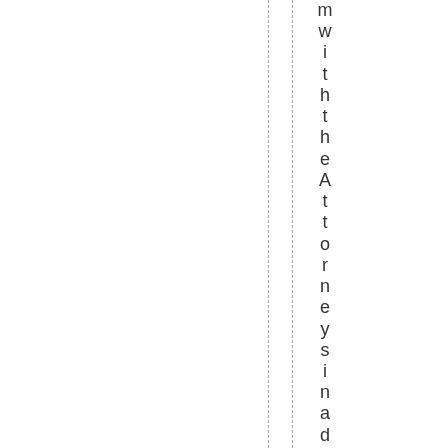m with the Attorneys in a deposition